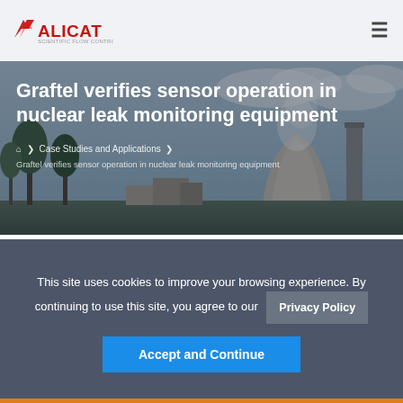[Figure (logo): Alicat Scientific logo with red arrow/wing mark and red ALICAT text]
[Figure (photo): Background hero image of nuclear power plant cooling towers with trees in foreground and cloudy sky]
Graftel verifies sensor operation in nuclear leak monitoring equipment
Home > Case Studies and Applications > Graftel verifies sensor operation in nuclear leak monitoring equipment
Graftel verifies sensor operation in nuclear leak monitoring equipment
This site uses cookies to improve your browsing experience. By continuing to use this site, you agree to our Privacy Policy Accept and Continue